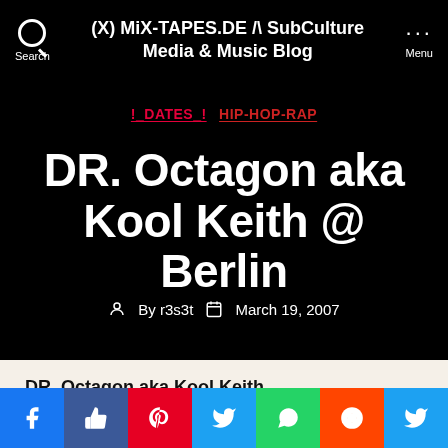(X) MiX-TAPES.DE /\ SubCulture Media & Music Blog
!_DATES_!  HIP-HOP-RAP
DR. Octagon aka Kool Keith @ Berlin
By r3s3t   March 19, 2007
DR. Octagon aka Kool Keith
Shares